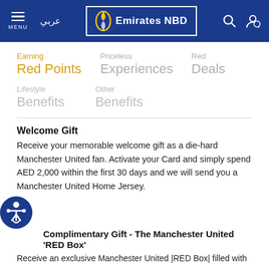Emirates NBD — MENU / عربي / Search / Account
Earning Red Points
Priceless Experiences
Red Deals
Lifestyle Benefits
Other Benefits
Welcome Gift
Receive your memorable welcome gift as a die-hard Manchester United fan. Activate your Card and simply spend AED 2,000 within the first 30 days and we will send you a Manchester United Home Jersey.
Complimentary Gift - The Manchester United 'RED Box'
Receive an exclusive Manchester United |RED Box| filled with